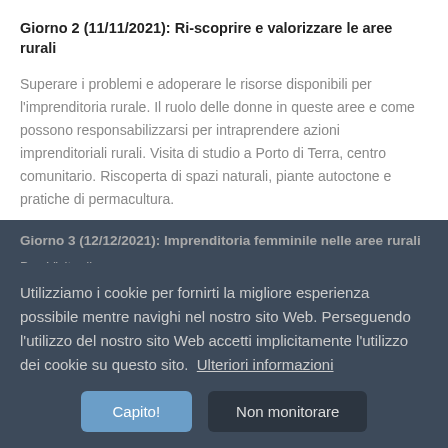Giorno 2 (11/11/2021): Ri-scoprire e valorizzare le aree rurali
Superare i problemi e adoperare le risorse disponibili per l'imprenditoria rurale. Il ruolo delle donne in queste aree e come possono responsabilizzarsi per intraprendere azioni imprenditoriali rurali. Visita di studio a Porto di Terra, centro comunitario. Riscoperta di spazi naturali, piante autoctone e pratiche di permacultura.
Giorno 3 (12/12/2021): Imprenditoria femminile nelle aree rurali
Cookie notice overlay: Utilizziamo i cookie per fornirti la migliore esperienza possibile mentre navighi nel nostro sito Web. Perseguendo l'utilizzo del nostro sito Web accetti implicitamente l'utilizzo dei cookie su questo sito. Ulteriori informazioni